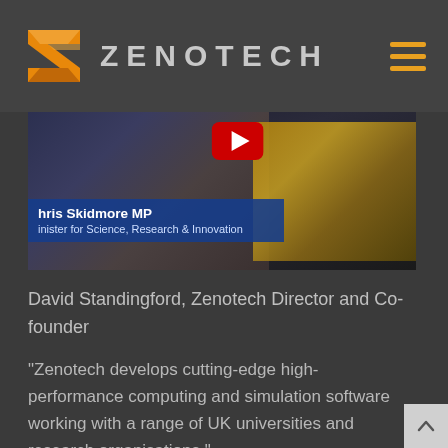ZENOTECH
[Figure (screenshot): Video thumbnail showing Chris Skidmore MP, Minister for Science, Research & Innovation, with a YouTube play button overlay and a tablet device visible on the right side.]
David Standingford, Zenotech Director and Co-founder
“Zenotech develops cutting-edge high-performance computing and simulation software working with a range of UK universities and research organisations.”